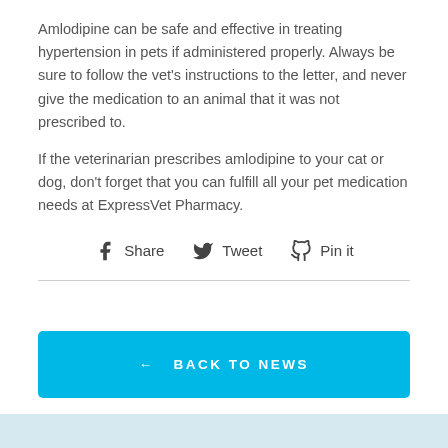Amlodipine can be safe and effective in treating hypertension in pets if administered properly. Always be sure to follow the vet's instructions to the letter, and never give the medication to an animal that it was not prescribed to.
If the veterinarian prescribes amlodipine to your cat or dog, don't forget that you can fulfill all your pet medication needs at ExpressVet Pharmacy.
Share  Tweet  Pin it
← BACK TO NEWS